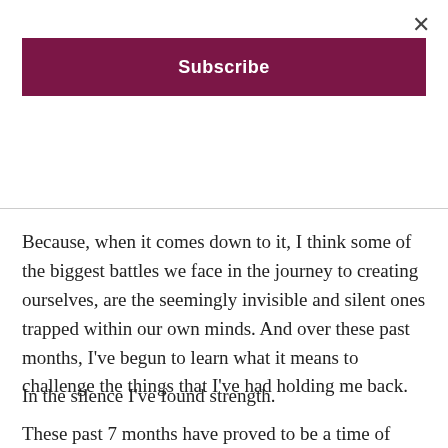×
Subscribe
Because, when it comes down to it, I think some of the biggest battles we face in the journey to creating ourselves, are the seemingly invisible and silent ones trapped within our own minds. And over these past months, I've begun to learn what it means to challenge the things that I've had holding me back.
In the silence I've found strength.
These past 7 months have proved to be a time of more battles than I ever thought I could face. Now, looking back to the person who stepped on the plane to France, I feel like I